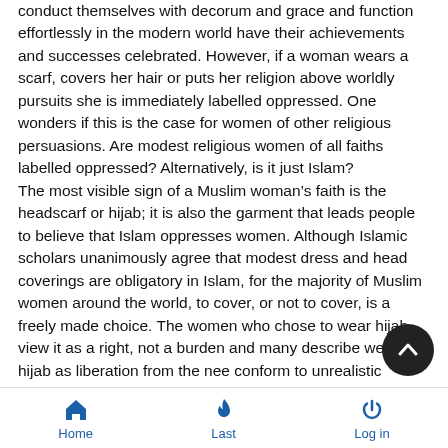conduct themselves with decorum and grace and function effortlessly in the modern world have their achievements and successes celebrated. However, if a woman wears a scarf, covers her hair or puts her religion above worldly pursuits she is immediately labelled oppressed. One wonders if this is the case for women of other religious persuasions. Are modest religious women of all faiths labelled oppressed? Alternatively, is it just Islam?
The most visible sign of a Muslim woman's faith is the headscarf or hijab; it is also the garment that leads people to believe that Islam oppresses women. Although Islamic scholars unanimously agree that modest dress and head coverings are obligatory in Islam, for the majority of Muslim women around the world, to cover, or not to cover, is a freely made choice. The women who chose to wear hijab view it as a right, not a burden and many describe wearing hijab as liberation from the need conform to unrealistic stereotypes and images dictated by the media.
Home   Last   Log in